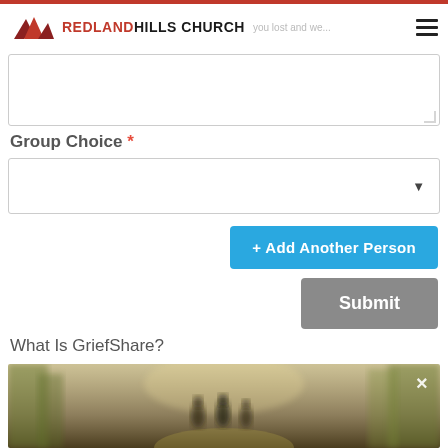REDLAND HILLS CHURCH
[Figure (screenshot): Textarea form field (partially visible, empty input box)]
Group Choice *
[Figure (screenshot): Dropdown select box for Group Choice]
[Figure (screenshot): + Add Another Person button (blue)]
[Figure (screenshot): Submit button (gray)]
What Is GriefShare?
[Figure (photo): Blurred forest scene with silhouettes of people walking on a path, with an X close button in the upper right corner]